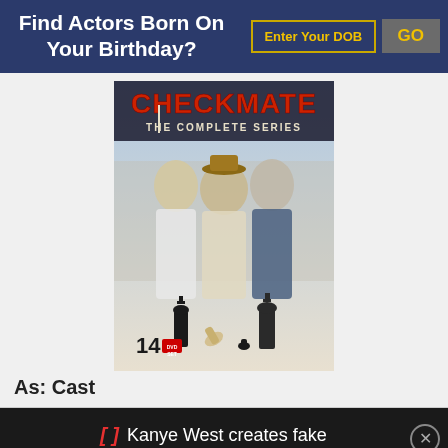Find Actors Born On Your Birthday?
Enter Your DOB
GO
[Figure (photo): DVD cover of 'Checkmate: The Complete Series' showing three men and chess pieces, labeled '14 DVD SET']
As: Cast
Kanye West creates fake newspaper headline to announce 'death' of Adidas CEO